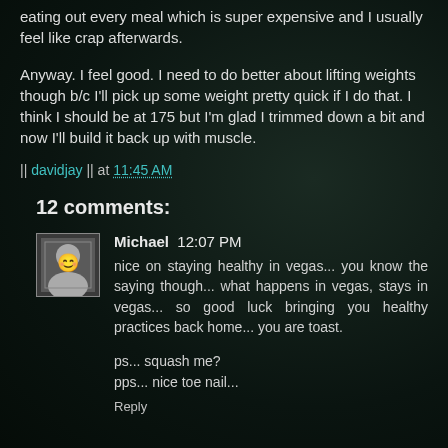eating out every meal which is super expensive and I usually feel like crap afterwards.
Anyway. I feel good. I need to do better about lifting weights though b/c I'll pick up some weight pretty quick if I do that. I think I should be at 175 but I'm glad I trimmed down a bit and now I'll build it back up with muscle.
|| davidjay || at 11:45 AM
12 comments:
Michael  12:07 PM
nice on staying healthy in vegas... you know the saying though... what happens in vegas, stays in vegas... so good luck bringing you healthy practices back home... you are toast.
ps... squash me?
pps... nice toe nail...
Reply